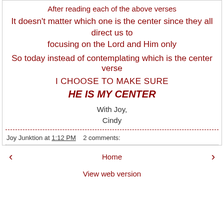After reading each of the above verses
It doesn't matter which one is the center since they all direct us to focusing on the Lord and Him only
So today instead of contemplating which is the center verse
I CHOOSE TO MAKE SURE
HE IS MY CENTER
With Joy,
Cindy
Joy Junktion at 1:12 PM    2 comments:
‹    Home    ›
View web version